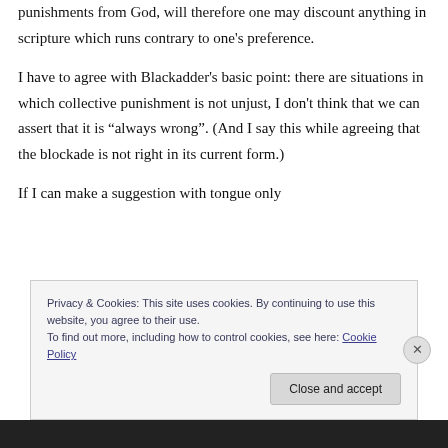punishments from God, will therefore one may discount anything in scripture which runs contrary to one's preference.
I have to agree with Blackadder's basic point: there are situations in which collective punishment is not unjust, I don't think that we can assert that it is “always wrong”. (And I say this while agreeing that the blockade is not right in its current form.)
If I can make a suggestion with tongue only
Privacy & Cookies: This site uses cookies. By continuing to use this website, you agree to their use.
To find out more, including how to control cookies, see here: Cookie Policy
Close and accept